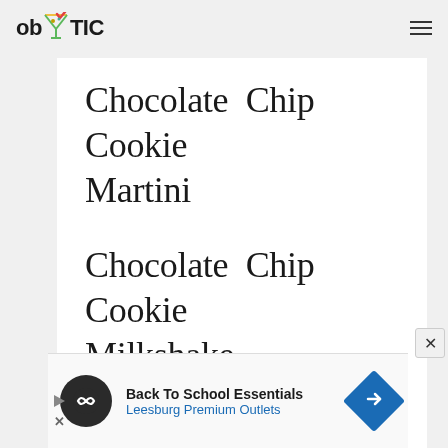ob TIC
Chocolate Chip Cookie Martini
Chocolate Chip Cookie Milkshake
Chocolate Chip Cookie
Back To School Essentials
Leesburg Premium Outlets